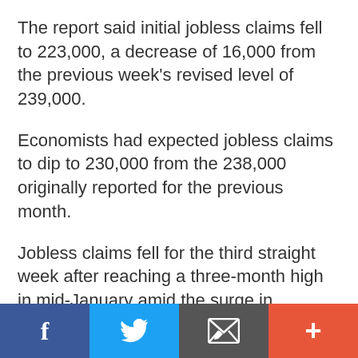The report said initial jobless claims fell to 223,000, a decrease of 16,000 from the previous week's revised level of 239,000.
Economists had expected jobless claims to dip to 230,000 from the 238,000 originally reported for the previous month.
Jobless claims fell for the third straight week after reaching a three-month high in mid-January amid the surge in coronavirus cases.
"[Jobless claims} have reversed 75% of their Omicron pop in just three weeks, reflecting the